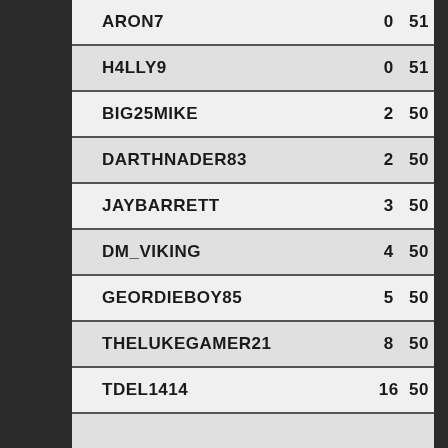| ARON7 | 0 | 51 |
| H4LLY9 | 0 | 51 |
| BIG25MIKE | 2 | 50 |
| DARTHNADER83 | 2 | 50 |
| JAYBARRETT | 3 | 50 |
| DM_VIKING | 4 | 50 |
| GEORDIEBOY85 | 5 | 50 |
| THELUKEGAMER21 | 8 | 50 |
| TDEL1414 | 16 | 50 |